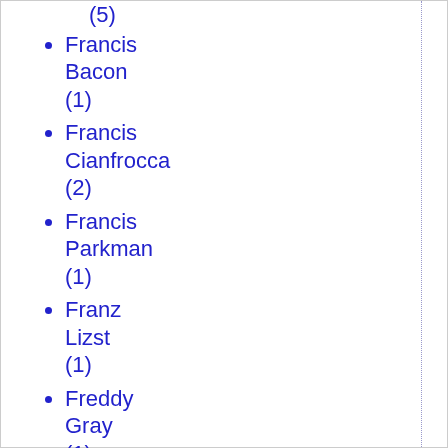(5)
Francis Bacon (1)
Francis Cianfrocca (2)
Francis Parkman (1)
Franz Lizst (1)
Freddy Gray (1)
free enterprise (2)
free market (3)
free markets (3)
Free